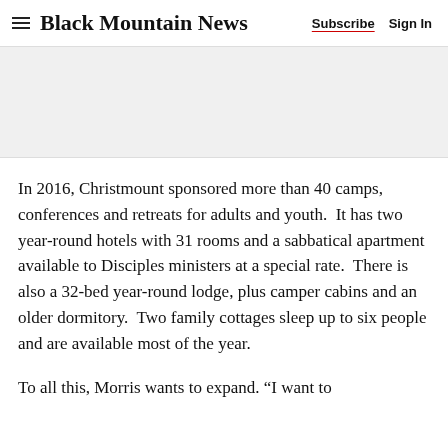Black Mountain News | Subscribe | Sign In
[Figure (other): Advertisement or placeholder banner area (gray background)]
In 2016, Christmount sponsored more than 40 camps, conferences and retreats for adults and youth.  It has two year-round hotels with 31 rooms and a sabbatical apartment available to Disciples ministers at a special rate.  There is also a 32-bed year-round lodge, plus camper cabins and an older dormitory.  Two family cottages sleep up to six people and are available most of the year.
To all this, Morris wants to expand. “I want to